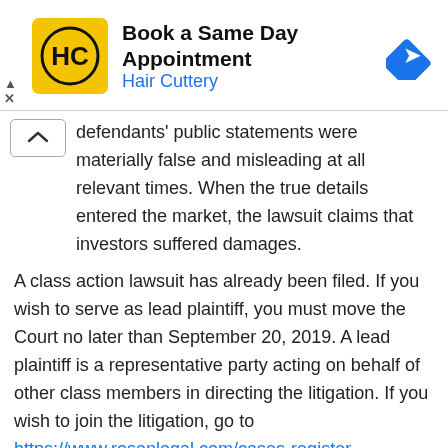[Figure (infographic): Hair Cuttery advertisement banner: yellow square logo with HC letters, 'Book a Same Day Appointment' headline, 'Hair Cuttery' subtitle in blue, blue diamond navigation icon on right, ad controls (triangle and X) on lower left]
defendants' public statements were materially false and misleading at all relevant times. When the true details entered the market, the lawsuit claims that investors suffered damages.
A class action lawsuit has already been filed. If you wish to serve as lead plaintiff, you must move the Court no later than September 20, 2019. A lead plaintiff is a representative party acting on behalf of other class members in directing the litigation. If you wish to join the litigation, go to https://www.rosenlegal.com/cases-register-1625.html or to discuss your rights or interests regarding this class action, please contact Phillip Kim of Rosen Law Firm toll free at 866-767-3653 or via email at pkim@rosenlegal.com or